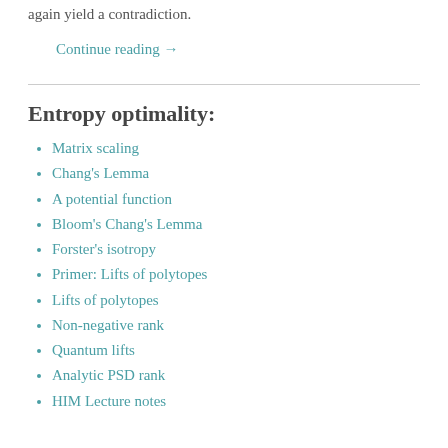again yield a contradiction.
Continue reading →
Entropy optimality:
Matrix scaling
Chang's Lemma
A potential function
Bloom's Chang's Lemma
Forster's isotropy
Primer: Lifts of polytopes
Lifts of polytopes
Non-negative rank
Quantum lifts
Analytic PSD rank
HIM Lecture notes